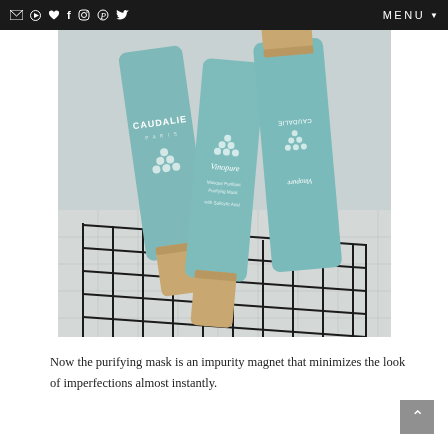MENU
[Figure (photo): Three Caudalie Vinopure teal/mint colored skincare tubes with wooden caps arranged in a black wire mesh basket on a light tile surface. Products include the Vinopure Purifying Mask and other Caudalie skincare items.]
Now the purifying mask is an impurity magnet that minimizes the look of imperfections almost instantly.